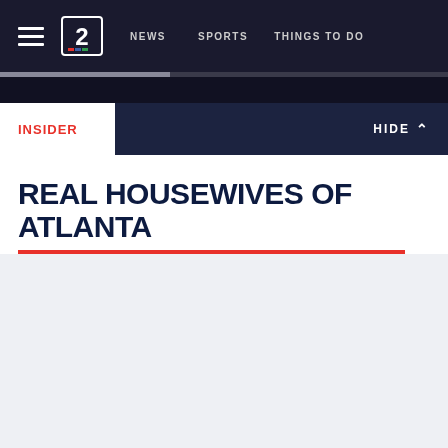NEWS   SPORTS   THINGS TO DO
INSIDER   HIDE
REAL HOUSEWIVES OF ATLANTA